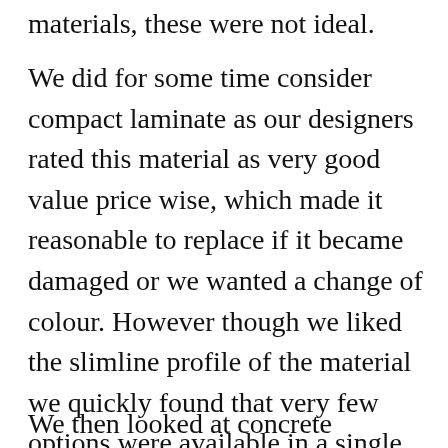materials, these were not ideal.
We did for some time consider compact laminate as our designers rated this material as very good value price wise, which made it reasonable to replace if it became damaged or we wanted a change of colour. However though we liked the slimline profile of the material we quickly found that very few options were available in a single piece in the size we required and these were all plain finish which we weren’t that keen on.
We then looked at concrete worktops. As these